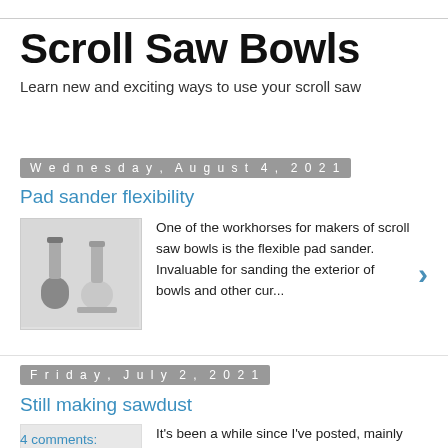Scroll Saw Bowls
Learn new and exciting ways to use your scroll saw
Wednesday, August 4, 2021
Pad sander flexibility
[Figure (photo): Two flexible pad sander tools shown side by side]
One of the workhorses for makers of scroll saw bowls is the flexible pad sander.  Invaluable for sanding the exterior of bowls and other cur...
Friday, July 2, 2021
Still making sawdust
It's been a while since I've posted, mainly because of recurring inappropriate comments, but I've never stopped making sawdust. ...
4 comments: